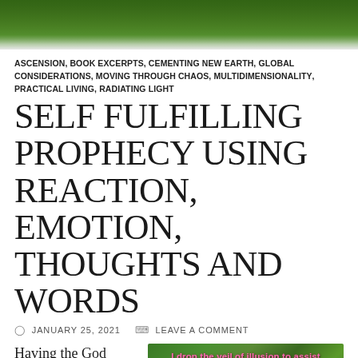[Figure (photo): Green leafy background photo used as page header banner]
ASCENSION, BOOK EXCERPTS, CEMENTING NEW EARTH, GLOBAL CONSIDERATIONS, MOVING THROUGH CHAOS, MULTIDIMENSIONALITY, PRACTICAL LIVING, RADIATING LIGHT
SELF FULFILLING PROPHECY USING REACTION, EMOTION, THOUGHTS AND WORDS
JANUARY 25, 2021   LEAVE A COMMENT
Having the God given ability to co-create upon this beautiful earth...
[Figure (photo): Photo of a blue butterfly on green leaves with pink text overlay reading: 'I drop the veil of illusion to assist humanity in becoming One, once again, and I am ever so grateful to do it with ease and grace as the one of I AM. And So it is!']